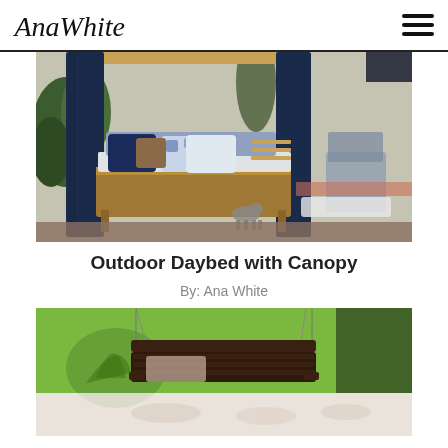AnaWhite
[Figure (photo): Outdoor daybed with canopy structure, blue curtains and cushions with blue and white patterned fabric, wood frame, cat walking on patio, adirondack chair visible to the right, garden wall background]
Outdoor Daybed with Canopy
By: Ana White
[Figure (photo): Dark wood porch swing or bench hanging by chains over green lawn, with decorative cushions and a reflection or glare visible at the bottom of the frame]